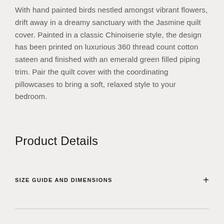With hand painted birds nestled amongst vibrant flowers, drift away in a dreamy sanctuary with the Jasmine quilt cover. Painted in a classic Chinoiserie style, the design has been printed on luxurious 360 thread count cotton sateen and finished with an emerald green filled piping trim. Pair the quilt cover with the coordinating pillowcases to bring a soft, relaxed style to your bedroom.
Product Details
SIZE GUIDE AND DIMENSIONS